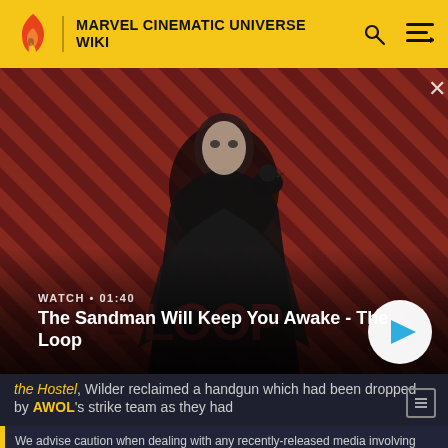MARVEL CINEMATIC UNIVERSE WIKI
[Figure (screenshot): Video thumbnail for 'The Sandman Will Keep You Awake - The Loop' showing a pale man in dark clothing with a crow on his shoulder against a red and black striped background. Shows WATCH • 01:40 label and a play button.]
The Sandman Will Keep You Awake - The Loop
the Hostel, Wilder reclaimed a handgun which had been dropped by AWOL's strike team as they had
We advise caution when dealing with any recently-released media involving multiversal subjects. Please do not make assumptions regarding confusing wording, other sites' speculation, and people's headcanon around the internet.